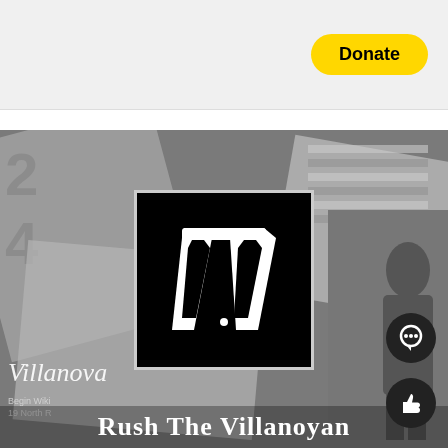[Figure (screenshot): Top bar with yellow Donate button on light gray background]
[Figure (photo): Hero image showing a collage of Villanova newspaper pages in grayscale with a centered black logo box containing a white gothic V, the text Rush The Villanoyan at the bottom, a girl figure on the right side, and circular social icons in the lower right corner]